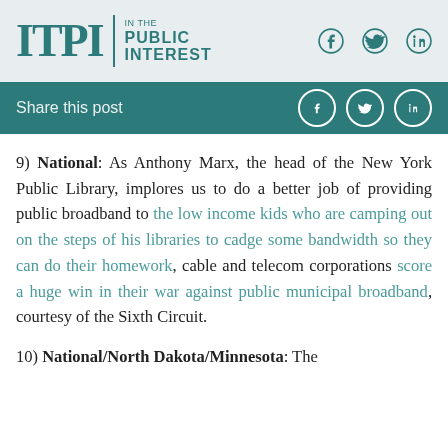ITPI | IN THE PUBLIC INTEREST
Share this post
9) National: As Anthony Marx, the head of the New York Public Library, implores us to do a better job of providing public broadband to the low income kids who are camping out on the steps of his libraries to cadge some bandwidth so they can do their homework, cable and telecom corporations score a huge win in their war against public municipal broadband, courtesy of the Sixth Circuit.
10) National/North Dakota/Minnesota: The